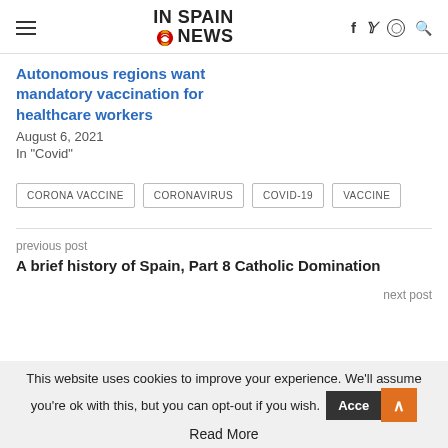IN SPAIN NEWS
Autonomous regions want mandatory vaccination for healthcare workers
August 6, 2021
In "Covid"
CORONA VACCINE
CORONAVIRUS
COVID-19
VACCINE
previous post
A brief history of Spain, Part 8 Catholic Domination
next post
This website uses cookies to improve your experience. We'll assume you're ok with this, but you can opt-out if you wish. Accept Read More